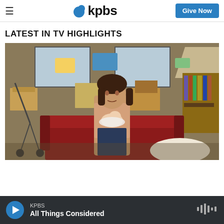KPBS — Give Now
LATEST IN TV HIGHLIGHTS
[Figure (photo): A woman holding a newborn baby sits on a red couch in a very cluttered room filled with boxes, baby items, books, and miscellaneous objects. There are windows behind her showing daylight outside.]
KPBS — All Things Considered